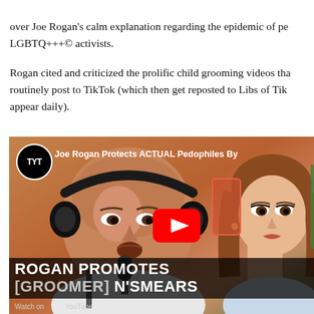over Joe Rogan's calm explanation regarding the epidemic of pe... LGBTQ+++© activists.
Rogan cited and criticized the prolific child grooming videos tha... routinely post to TikTok (which then get reposted to Libs of Tik... appear daily).
[Figure (screenshot): YouTube video thumbnail from TYT channel titled 'Joe Rogan Protects ACTUAL Pedophiles By...' showing a bald man with headphones on the left and a woman on the right, with overlay text 'ROGAN PROMOTES [GROOMER] N'SMEARS']